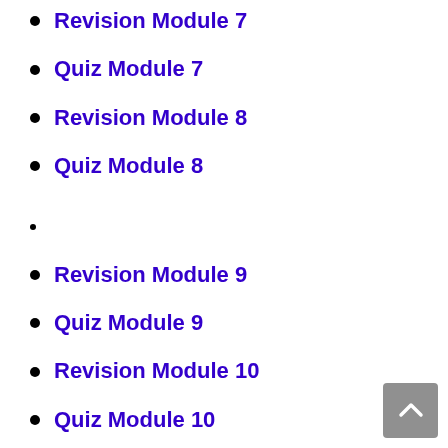Revision Module 7
Quiz Module 7
Revision Module 8
Quiz Module 8
Revision Module 9
Quiz Module 9
Revision Module 10
Quiz Module 10